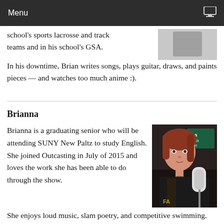Menu
school's sports lacrosse and track teams and in his school's GSA.
In his downtime, Brian writes songs, plays guitar, draws, and paints pieces — and watches too much anime :).
Brianna
Brianna is a graduating senior who will be attending SUNY New Paltz to study English. She joined Outcasting in July of 2015 and loves the work she has been able to do through the show. She enjoys loud music, slam poetry, and competitive swimming.
[Figure (photo): Photo of a woman with red hair sitting in front of a microphone in what appears to be a radio studio]